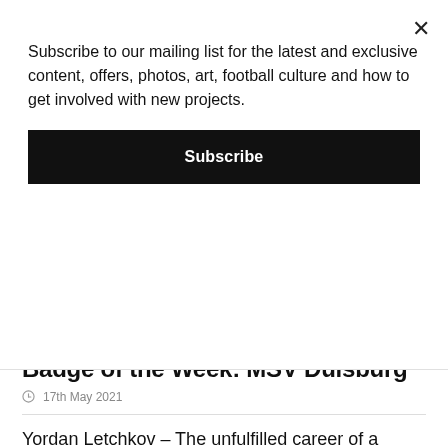Subscribe to our mailing list for the latest and exclusive content, offers, photos, art, football culture and how to get involved with new projects.
Subscribe
[Figure (photo): Black rectangular image area]
Badge of the Week: MSV Duisburg
17th May 2021
Yordan Letchkov – The unfulfilled career of a World Cup legend
29th April 2021